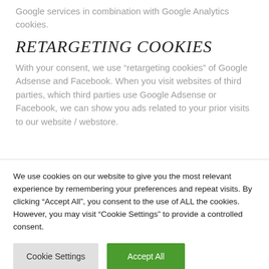Google services in combination with Google Analytics cookies.
RETARGETING COOKIES
With your consent, we use “retargeting cookies” of Google Adsense and Facebook. When you visit websites of third parties, which third parties use Google Adsense or Facebook, we can show you ads related to your prior visits to our website / webstore.
We use cookies on our website to give you the most relevant experience by remembering your preferences and repeat visits. By clicking “Accept All”, you consent to the use of ALL the cookies. However, you may visit “Cookie Settings” to provide a controlled consent.